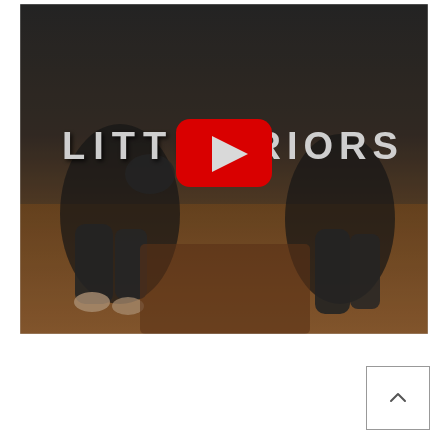[Figure (screenshot): YouTube video thumbnail showing two children in MMA gear (shin guards, gloves) sitting cross-legged. White distressed text reads 'LITTLE WARRIORS' with a red YouTube play button icon in the center overlaying the text.]